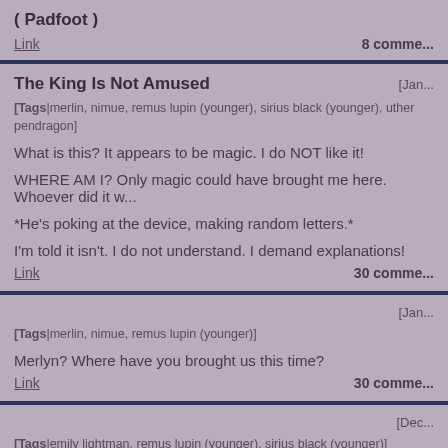( Padfoot )
Link   8 comme...
The King Is Not Amused
[Tags|merlin, nimue, remus lupin (younger), sirius black (younger), uther pendragon]
What is this? It appears to be magic. I do NOT like it!
WHERE AM I? Only magic could have brought me here. Whoever did it w...
*He's poking at the device, making random letters.*
I'm told it isn't. I do not understand. I demand explanations!
Link   30 comme...
[Jan...]
[Tags|merlin, nimue, remus lupin (younger)]
Merlyn? Where have you brought us this time?
Link   30 comme...
[Dec...]
[Tags|emily lightman, remus lupin (younger), sirius black (younger)]
EW. God. Sirius, what the heck?